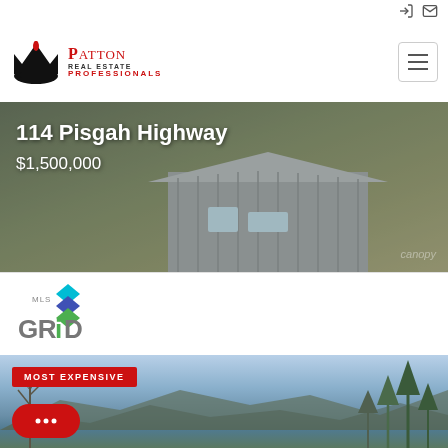[Figure (logo): Patton Real Estate Professionals logo with crown and fleur-de-lis icon]
[Figure (photo): Aerial/rooftop photo of a house at 114 Pisgah Highway with metal roof, overlaid with property address and price]
114 Pisgah Highway
$1,500,000
[Figure (logo): MLS GRID logo with stacked colored diamond shapes]
[Figure (photo): Landscape photo showing mountains and trees, labeled MOST EXPENSIVE]
MOST EXPENSIVE